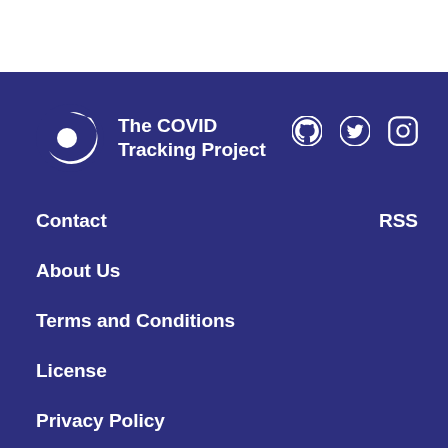[Figure (logo): The COVID Tracking Project logo — circular icon with white crescent and dot on dark blue background, beside the text 'The COVID Tracking Project']
[Figure (other): Social media icons: GitHub, Twitter, Instagram — white on dark blue]
Contact
RSS
About Us
Terms and Conditions
License
Privacy Policy
Accessibility
Sitemap